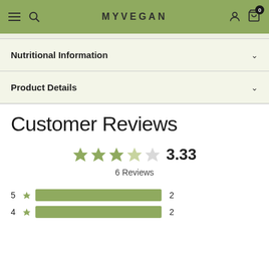MYVEGAN
Nutritional Information
Product Details
Customer Reviews
[Figure (other): Star rating display showing 3.33 out of 5 stars with 6 Reviews]
[Figure (bar-chart): Rating distribution]